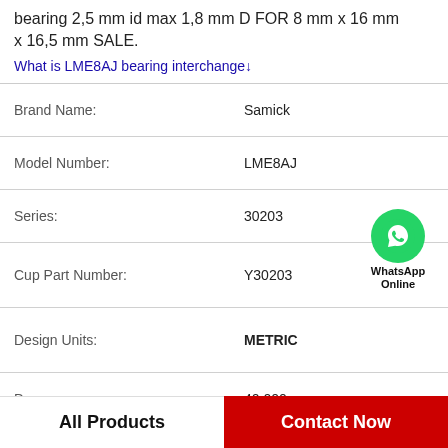bearing 2,5 mm id max 1,8 mm D FOR 8 mm x 16 mm x 16,5 mm SALE.
What is LME8AJ bearing interchange↓
| Property | Value |
| --- | --- |
| Brand Name: | Samick |
| Model Number: | LME8AJ |
| Series: | 30203 |
| Cup Part Number: | Y30203 |
| Design Units: | METRIC |
| D: | 40.000 mm |
| C - Cup Width: | 11.000 mm |
| r - Cup Backface To Clear Radius1: | 1.02 mm |
[Figure (logo): WhatsApp Online green phone badge]
All Products | Contact Now